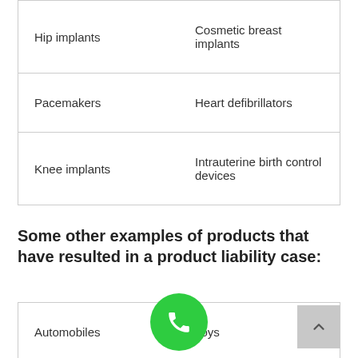| Hip implants | Cosmetic breast implants |
| Pacemakers | Heart defibrillators |
| Knee implants | Intrauterine birth control devices |
Some other examples of products that have resulted in a product liability case:
| Automobiles | Toys |